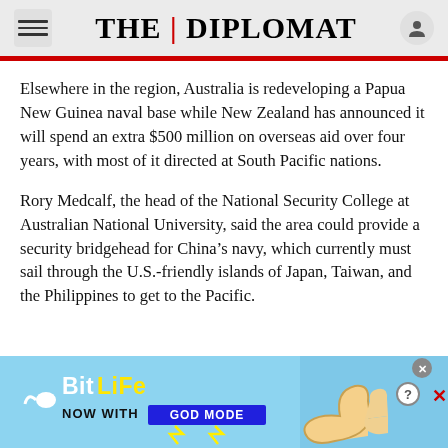THE DIPLOMAT
Elsewhere in the region, Australia is redeveloping a Papua New Guinea naval base while New Zealand has announced it will spend an extra $500 million on overseas aid over four years, with most of it directed at South Pacific nations.
Rory Medcalf, the head of the National Security College at Australian National University, said the area could provide a security bridgehead for China’s navy, which currently must sail through the U.S.-friendly islands of Japan, Taiwan, and the Philippines to get to the Pacific.
[Figure (screenshot): BitLife advertisement banner with blue background, BitLife logo, and 'NOW WITH GOD MODE' text, with cartoon hand illustration]